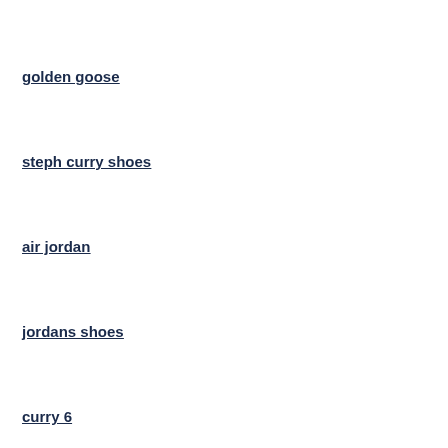golden goose
steph curry shoes
air jordan
jordans shoes
curry 6